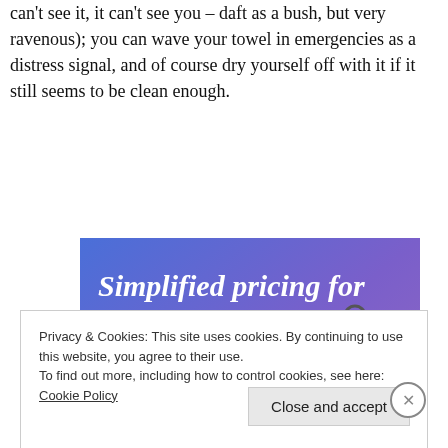can't see it, it can't see you – daft as a bush, but very ravenous); you can wave your towel in emergencies as a distress signal, and of course dry yourself off with it if it still seems to be clean enough.
[Figure (infographic): Advertisement banner with gradient blue-purple background, white text reading 'Simplified pricing for everything you need.' with a pink 'Build Your Website' button and a tan price tag graphic on the right.]
Privacy & Cookies: This site uses cookies. By continuing to use this website, you agree to their use.
To find out more, including how to control cookies, see here: Cookie Policy
Close and accept